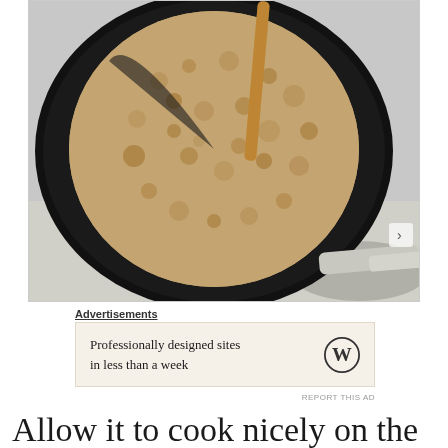[Figure (photo): Overhead view of a round flatbread or roti cooking in a black cast iron skillet, with a wooden spatula inserted, on a light gray countertop surface. The bread has a textured, pockmarked surface typical of paratha or similar flatbread.]
Advertisements
[Figure (other): Advertisement banner with cream/beige background. Text reads: 'Professionally designed sites in less than a week' with a WordPress (W) logo on the right side.]
REPORT THIS AD
Allow it to cook nicely on the